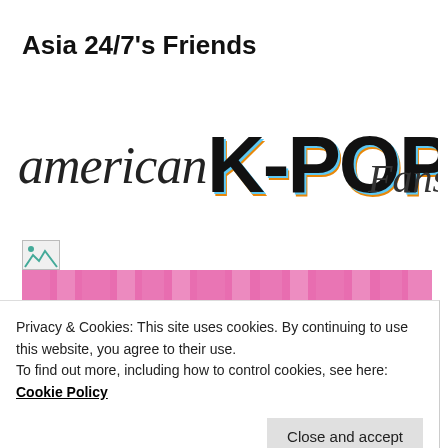Asia 24/7's Friends
[Figure (logo): American K-POP Fans logo with stylized text]
[Figure (logo): Broken image placeholder icon]
[Figure (logo): K-Drama Central banner with pink striped background and white cursive text]
Privacy & Cookies: This site uses cookies. By continuing to use this website, you agree to their use.
To find out more, including how to control cookies, see here: Cookie Policy
Close and accept